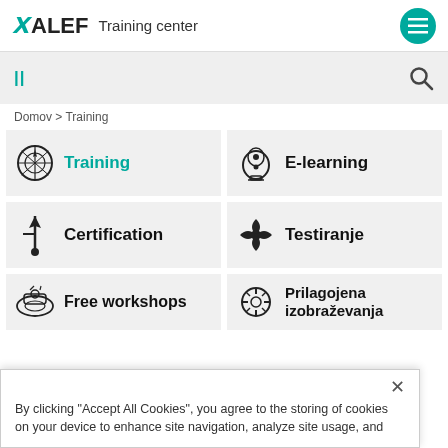ALEF Training center
[Figure (screenshot): Search bar with filter icon (||) on left and search icon (magnifying glass) on right, gray background]
Domov > Training
[Figure (infographic): Grid of training category tiles: Training (compass icon, teal label), E-learning (diving helmet icon), Certification (golf flag icon), Testiranje (fan/propeller icon), Free workshops (robot/spaceship icon), Prilagojena izobraževanja (gear/clock icon)]
By clicking "Accept All Cookies", you agree to the storing of cookies on your device to enhance site navigation, analyze site usage, and